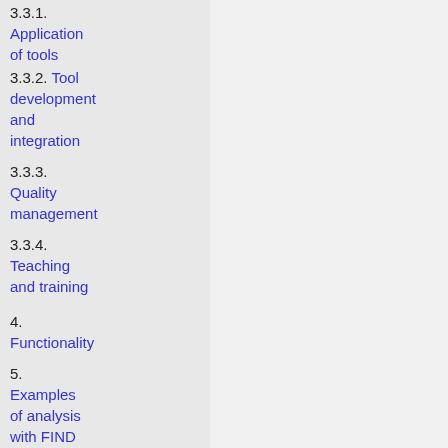3.3.1. Application of tools
3.3.2. Tool development and integration
3.3.3. Quality management
3.3.4. Teaching and training
4. Functionality
5. Examples of analysis with FIND
5.1. Odor-response dynamics of spiking irregularity